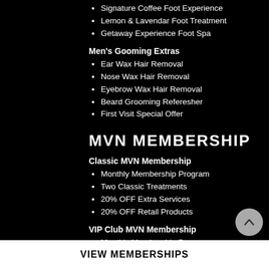Signature Coffee Foot Experience
Lemon & Lavendar Foot Treatment
Getaway Experience Foot Spa
Men's Gooming Extras
Ear Wax Hair Removal
Nose Wax Hair Removal
Eyebrow Wax Hair Removal
Beard Grooming Referesher
First Visit Special Offer
MVN MEMBERSHIP
Classic MVN Membership
Monthly Membership Program
Two Classic Treatments
20% OFF Extra Services
20% OFF Retail Products
VIP Club MVN Membership
Monthly Membership Program
Three Premium Treatments
Can Use 1 Service As Guest Pass
Free MVN Bath Bomb
20% OFF Extra Services
20% OFF Retail Products
VIEW MEMBERSHIPS